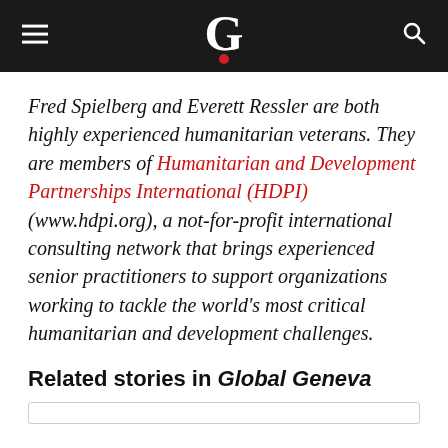G
Fred Spielberg and Everett Ressler are both highly experienced humanitarian veterans. They are members of Humanitarian and Development Partnerships International (HDPI) (www.hdpi.org), a not-for-profit international consulting network that brings experienced senior practitioners to support organizations working to tackle the world's most critical humanitarian and development challenges.
Related stories in Global Geneva